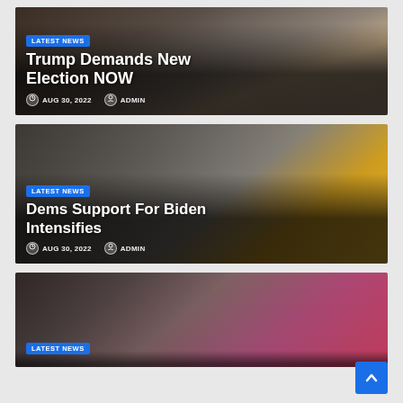[Figure (photo): News card 1: Trump at podium with microphone, red tie, dark background. Badge: LATEST NEWS. Title: Trump Demands New Election NOW. Date: AUG 30, 2022. Author: ADMIN.]
[Figure (photo): News card 2: Split image — older gray-haired man on left, another gray-haired man on right with yellow Ohio state seal background. Badge: LATEST NEWS. Title: Dems Support For Biden Intensifies. Date: AUG 30, 2022. Author: ADMIN.]
[Figure (photo): News card 3 (partial): Man with brown hair on pink/magenta background. Badge: LATEST NEWS. Partially visible at bottom of page.]